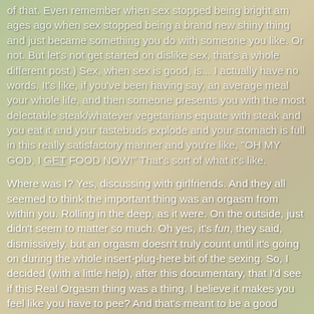of that. Even remember when sex stopped being bright am ages ago when sex stopped being a brand new shiny thing and just became something you do with someone you like. Or not. But let's not get started on dislike sex, that's a whole different post.) Sex, when sex is good, is... I actually have no words. It's like, if you've been having say, an average meal your whole life, and then someone presents you with the most delectable steak/whatever vegetarians equate with steak and you eat it and your tastebuds explode and your stomach is full in this really satisfactory manner and you're like, "OH MY GOD, I GET FOOD NOW!" That's sort of what it's like.

Where was I? Yes, discussing with girlfriends. And they all seemed to think the important thing was an orgasm from within you. Rolling in the deep, as it were. On the outside, just didn't seem to matter so much. Oh yes, it's fun, they said, dismissively, but an orgasm doesn't truly count until it's going on during the whole insert-plug-here bit of the sexing. So, I decided (with a little help), after this documentary, that I'd see if this Real Orgasm thing was a thing. I believe it makes you feel like you have to pee? And that's meant to be a good thing? News flash: it isn't...